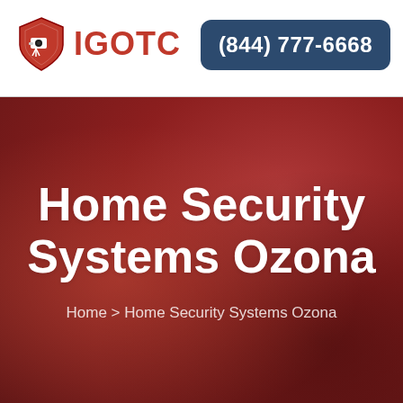[Figure (logo): IGOTC logo with red shield icon containing a security camera, and red bold text IGOTC]
≡
(844) 777-6668
Home Security Systems Ozona
Home > Home Security Systems Ozona